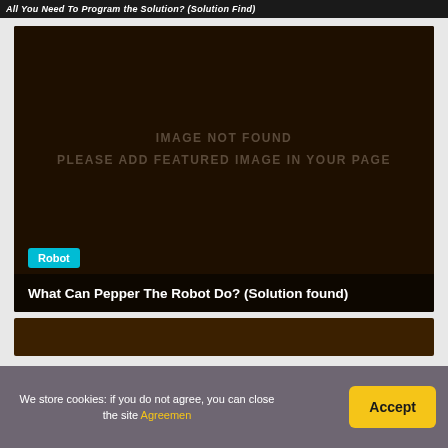All You Need To Program the Solution? (Solution Find)
[Figure (photo): Dark brown placeholder image with text IMAGE NOT FOUND / PLEASE ADD FEATURED IMAGE IN YOUR PAGE]
Robot
What Can Pepper The Robot Do? (Solution found)
[Figure (photo): Dark brown partial card visible at bottom]
We store cookies: if you do not agree, you can close the site Agreemen
Accept